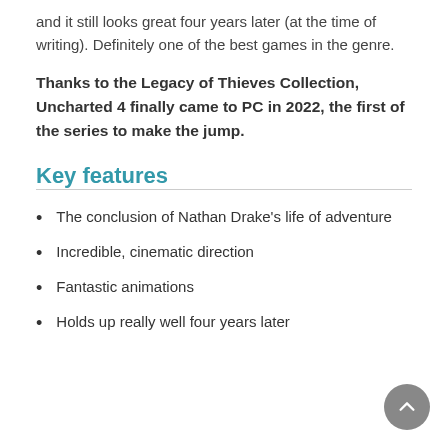and it still looks great four years later (at the time of writing). Definitely one of the best games in the genre.
Thanks to the Legacy of Thieves Collection, Uncharted 4 finally came to PC in 2022, the first of the series to make the jump.
Key features
The conclusion of Nathan Drake’s life of adventure
Incredible, cinematic direction
Fantastic animations
Holds up really well four years later